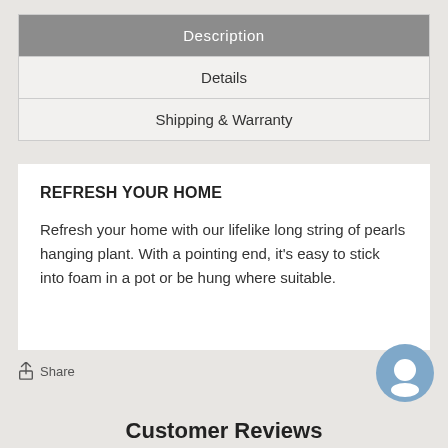Description
Details
Shipping & Warranty
REFRESH YOUR HOME
Refresh your home with our lifelike long string of pearls hanging plant. With a pointing end, it's easy to stick into foam in a pot or be hung where suitable.
Share
Customer Reviews